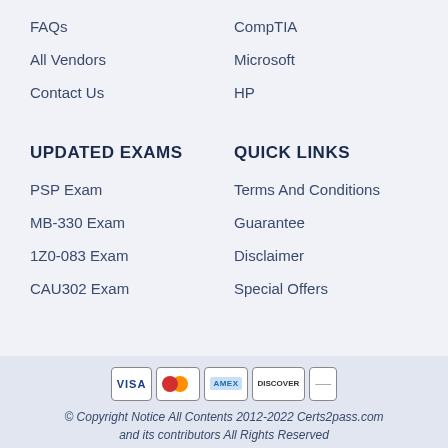FAQs
CompTIA
All Vendors
Microsoft
Contact Us
HP
UPDATED EXAMS
QUICK LINKS
PSP Exam
Terms And Conditions
MB-330 Exam
Guarantee
1Z0-083 Exam
Disclaimer
CAU302 Exam
Special Offers
[Figure (illustration): Payment method icons: VISA, MasterCard, American Express, Discover, Diners Club]
© Copyright Notice All Contents 2012-2022 Certs2pass.com and its contributors All Rights Reserved